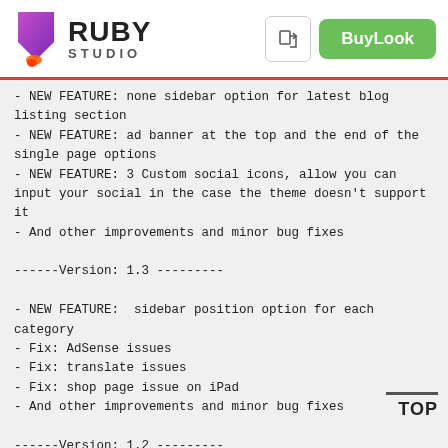RUBY STUDIO — BuyLook
- NEW FEATURE: none sidebar option for latest blog listing section
- NEW FEATURE: ad banner at the top and the end of the single page options
- NEW FEATURE: 3 Custom social icons, allow you can input your social in the case the theme doesn't support it
- And other improvements and minor bug fixes
------Version: 1.3 ---------
- NEW FEATURE:  sidebar position option for each category
- Fix: AdSense issues
- Fix: translate issues
- Fix: shop page issue on iPad
- And other improvements and minor bug fixes
------Version: 1.2 ---------
- NEW FEATURE:  added VK social counter
- NEW FEATURE:  added social icons for topbar